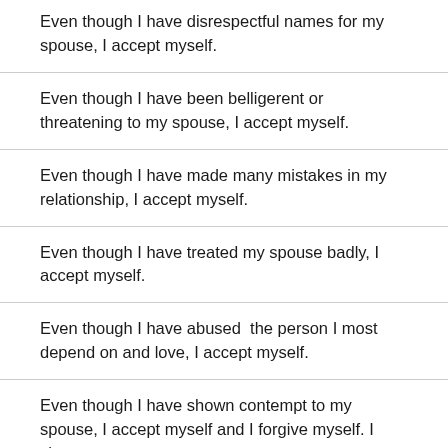Even though I have disrespectful names for my spouse, I accept myself.
Even though I have been belligerent or threatening to my spouse, I accept myself.
Even though I have made many mistakes in my relationship, I accept myself.
Even though I have treated my spouse badly, I accept myself.
Even though I have abused  the person I most depend on and love, I accept myself.
Even though I have shown contempt to my spouse, I accept myself and I forgive myself. I chosse to